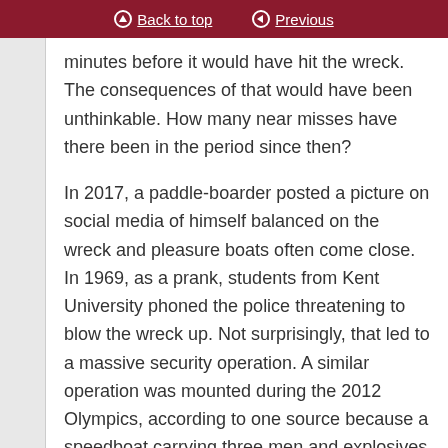Back to top | Previous
minutes before it would have hit the wreck. The consequences of that would have been unthinkable. How many near misses have there been in the period since then?
In 2017, a paddle-boarder posted a picture on social media of himself balanced on the wreck and pleasure boats often come close. In 1969, as a prank, students from Kent University phoned the police threatening to blow the wreck up. Not surprisingly, that led to a massive security operation. A similar operation was mounted during the 2012 Olympics, according to one source because a speedboat carrying three men and explosives was intercepted nearby. Was that security operation simply precautionary or was it in response to a